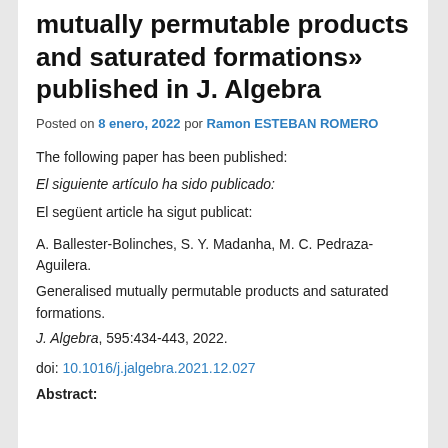mutually permutable products and saturated formations» published in J. Algebra
Posted on 8 enero, 2022 por Ramon ESTEBAN ROMERO
The following paper has been published:
El siguiente artículo ha sido publicado:
El següent article ha sigut publicat:
A. Ballester-Bolinches, S. Y. Madanha, M. C. Pedraza-Aguilera.
Generalised mutually permutable products and saturated formations.
J. Algebra, 595:434-443, 2022.
doi: 10.1016/j.jalgebra.2021.12.027
Abstract: